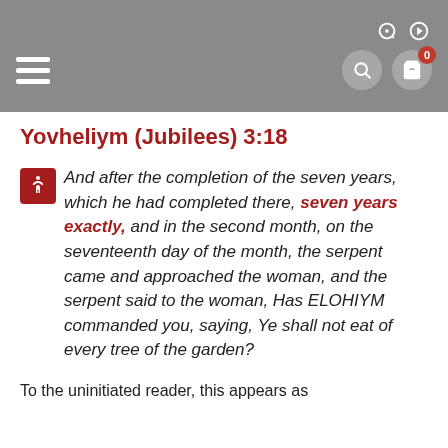Navigation bar with hamburger menu, search, and cart icons
Yovheliym (Jubilees) 3:18
And after the completion of the seven years, which he had completed there, seven years exactly, and in the second month, on the seventeenth day of the month, the serpent came and approached the woman, and the serpent said to the woman, Has ELOHIYM commanded you, saying, Ye shall not eat of every tree of the garden?
To the uninitiated reader, this appears as